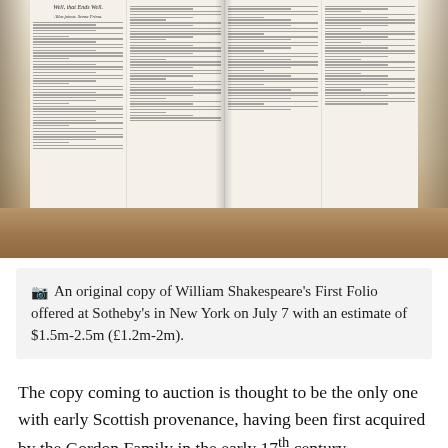[Figure (photo): An open copy of Shakespeare's First Folio showing printed columns of text with the title 'Well, that Ends Well' visible at the top, resting on a wooden surface.]
An original copy of William Shakespeare's First Folio offered at Sotheby's in New York on July 7 with an estimate of $1.5m-2.5m (£1.2m-2m).
The copy coming to auction is thought to be the only one with early Scottish provenance, having been first acquired by the Gordon Family in the early 17th century.
It was later passed down through the generations to